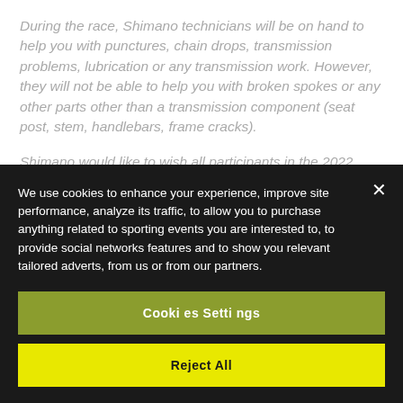During the race, Shimano technicians will be on hand to help you with punctures, chain drops, transmission problems, lubrication or any transmission work. However, they will not be able to help you with broken spokes or any other parts other than a transmission component (seat post, stem, handlebars, frame cracks).
Shimano would like to wish all participants in the 2022 Étape du Tour de France a great edition!
After the event, don't hesitate to visit one of our 140 Shimano...
We use cookies to enhance your experience, improve site performance, analyze its traffic, to allow you to purchase anything related to sporting events you are interested to, to provide social networks features and to show you relevant tailored adverts, from us or from our partners.
Cookies Settings
Reject All